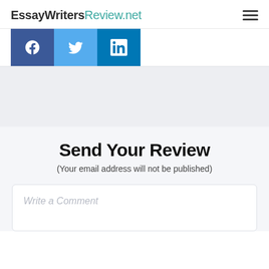EssayWritersReview.net
[Figure (infographic): Social media share buttons: Facebook (dark blue, f icon), Twitter (light blue, bird icon), LinkedIn (blue, in icon)]
Send Your Review
(Your email address will not be published)
Write a Comment